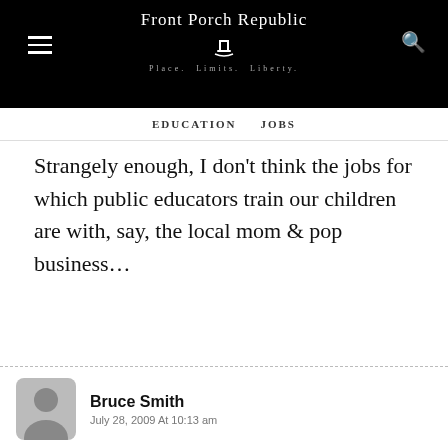Front Porch Republic — Place. Limits. Liberty.
EDUCATION   JOBS
Strangely enough, I don't think the jobs for which public educators train our children are with, say, the local mom & pop business…
Bruce Smith
July 28, 2009 At 10:13 am
The task of persuading David Cameron (the probable next British Prime-Minister) to devolve capital and evolve consensual capitalism is not